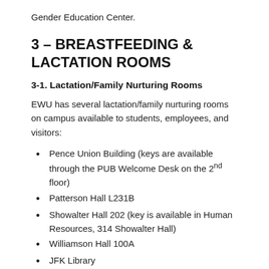Gender Education Center.
3 – BREASTFEEDING & LACTATION ROOMS
3-1. Lactation/Family Nurturing Rooms
EWU has several lactation/family nurturing rooms on campus available to students, employees, and visitors:
Pence Union Building (keys are available through the PUB Welcome Desk on the 2nd floor)
Patterson Hall L231B
Showalter Hall 202 (key is available in Human Resources, 314 Showalter Hall)
Williamson Hall 100A
JFK Library
Spokane WSU Campus- Academic Center 145B
Catalyst building ground level